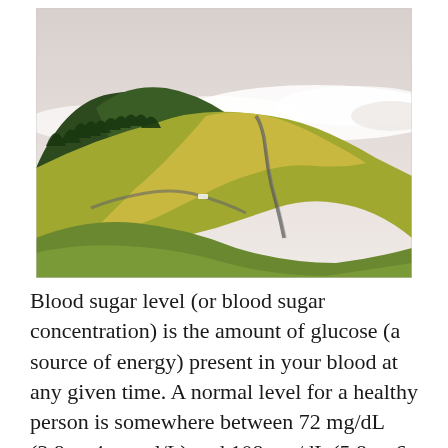[Figure (photo): Aerial landscape photograph of green rolling hills with a winding road through them, forested dark green hillside in the background, low clouds/fog in the distance, and a pale sky above.]
Blood sugar level (or blood sugar concentration) is the amount of glucose (a source of energy) present in your blood at any given time. A normal level for a healthy person is somewhere between 72 mg/dL (3.8 to 4 mmol/L) and 108 mg/dL (5.8 to 6 mmol/L). 1 dag sedan · New research shows that people who